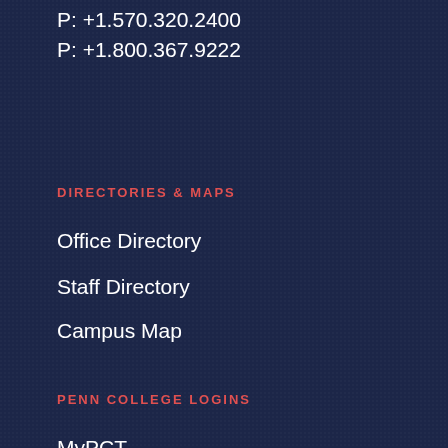P: +1.570.320.2400
P: +1.800.367.9222
DIRECTORIES & MAPS
Office Directory
Staff Directory
Campus Map
PENN COLLEGE LOGINS
MyPCT
SIS
EIS
P.L.A.T.O.
STATEMENTS ABOUT
Privacy